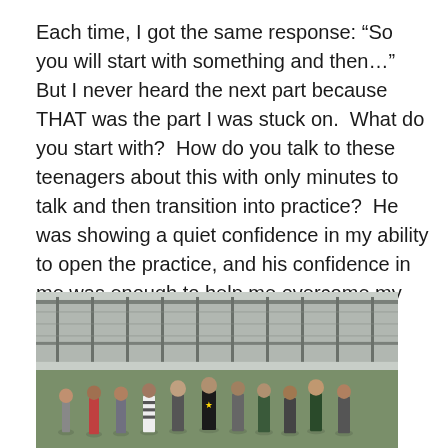Each time, I got the same response: “So you will start with something and then…” But I never heard the next part because THAT was the part I was stuck on.  What do you start with?  How do you talk to these teenagers about this with only minutes to talk and then transition into practice?  He was showing a quiet confidence in my ability to open the practice, and his confidence in me was enough to help me overcome my trepidations stepping into this unknown situation.
[Figure (photo): A group of teenagers standing on a sports field, viewed from behind, wearing casual athletic clothes. The background shows a large fence or stadium structure and an overcast sky.]